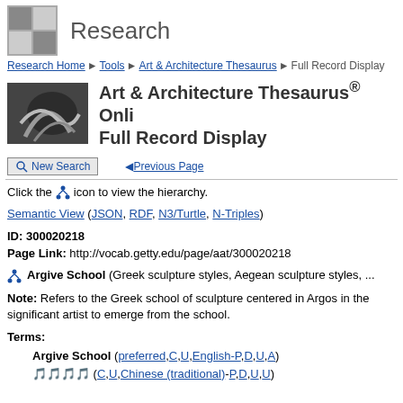Research
Research Home ▶ Tools ▶ Art & Architecture Thesaurus ▶ Full Record Display
Art & Architecture Thesaurus® Online Full Record Display
New Search  ◄Previous Page
Click the icon to view the hierarchy.
Semantic View (JSON, RDF, N3/Turtle, N-Triples)
ID: 300020218
Page Link: http://vocab.getty.edu/page/aat/300020218
Argive School (Greek sculpture styles, Aegean sculpture styles, ...
Note: Refers to the Greek school of sculpture centered in Argos in the significant artist to emerge from the school.
Terms:
Argive School (preferred,C,U,English-P,D,U,A)
𝄞𝄞𝄞𝄞 (C,U,Chinese (traditional)-P,D,U,U)